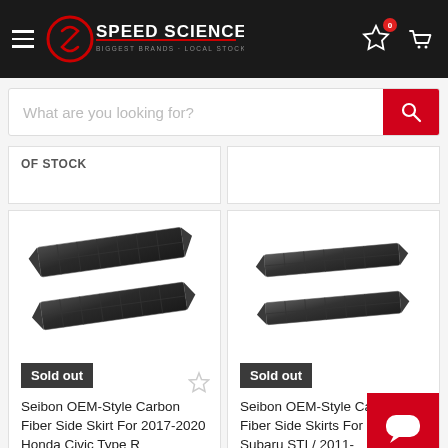Speed Science — navigation header with logo, search bar, wishlist and cart icons
of stock
[Figure (photo): Carbon fiber side skirt for 2017-2020 Honda Civic Type R — black carbon fiber pair of side skirts shown at angle]
Sold out
Seibon OEM-Style Carbon Fiber Side Skirt For 2017-2020 Honda Civic Type R
[Figure (photo): Carbon fiber side skirts for 2008-20 Subaru STI / 2011- — black carbon fiber pair of side skirts shown at angle]
Sold out
Seibon OEM-Style Carbon Fiber Side Skirts For 2008-20 Subaru STI / 2011-